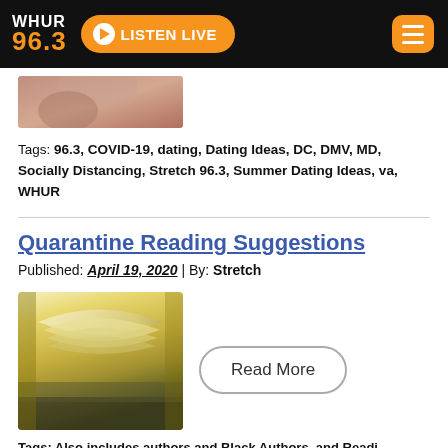WHUR 96.3 — LISTEN LIVE
[Figure (photo): Partial image of hands, cropped at top of content area]
Tags: 96.3, COVID-19, dating, Dating Ideas, DC, DMV, MD, Socially Distancing, Stretch 96.3, Summer Dating Ideas, va, WHUR
Quarantine Reading Suggestions
Published: April 19, 2020 | By: Stretch
[Figure (photo): Stack of open books with pages fanned out, warm yellow-green tones]
Read More
Tags: Also includes authors and Black Authors, and...